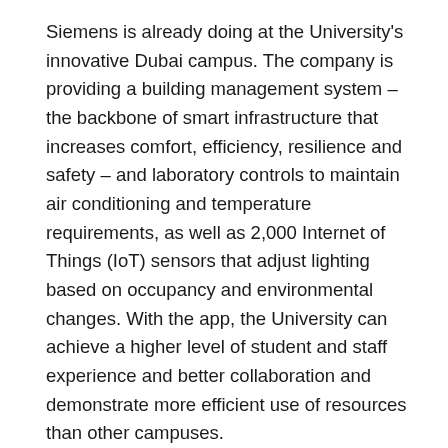Siemens is already doing at the University's innovative Dubai campus. The company is providing a building management system – the backbone of smart infrastructure that increases comfort, efficiency, resilience and safety – and laboratory controls to maintain air conditioning and temperature requirements, as well as 2,000 Internet of Things (IoT) sensors that adjust lighting based on occupancy and environmental changes. With the app, the University can achieve a higher level of student and staff experience and better collaboration and demonstrate more efficient use of resources than other campuses.
The intelligent campus app complements the University's partnership with Siemens to create a smart and sustainable educational institution. The